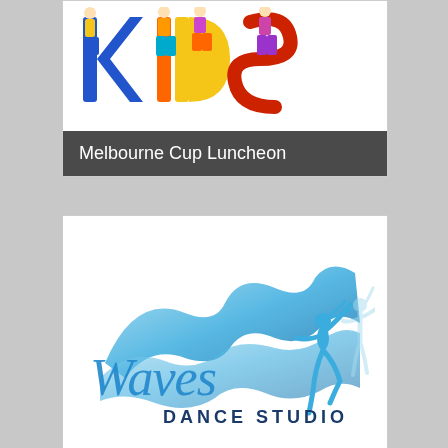[Figure (illustration): Colorful cartoon 'KIDS' logo with children figures forming the letters, wearing bright colored clothing]
Melbourne Cup Luncheon
[Figure (logo): Waves Dance Studio logo featuring a blue wave graphic with a dancer silhouette and script/text branding]